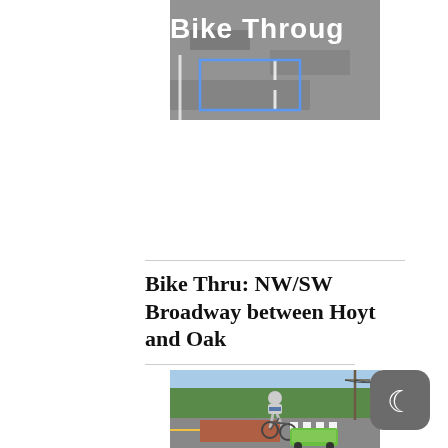[Figure (photo): Aerial or overhead view of a road/street surface with white lane markings and a blue outlined box, likely a bike lane or intersection marking. White bold text overlay reads 'Bike Through' (partially cropped).]
Bike Thru: NW/SW Broadway between Hoyt and Oak
[Figure (photo): Street-level photo of a person riding a bicycle with a green cargo trailer through an intersection. The road has orange/red bike lane markings and crosswalk stripes. Trees and buildings visible in background.]